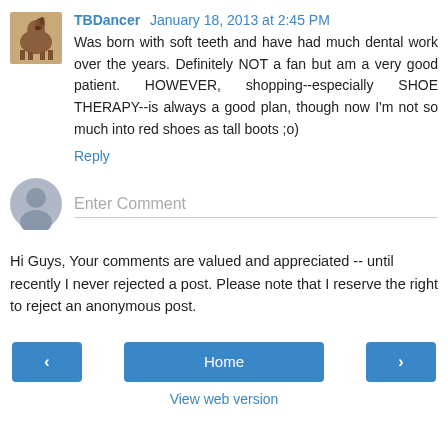TBDancer  January 18, 2013 at 2:45 PM
Was born with soft teeth and have had much dental work over the years. Definitely NOT a fan but am a very good patient. HOWEVER, shopping--especially SHOE THERAPY--is always a good plan, though now I'm not so much into red shoes as tall boots ;o)
Reply
Enter Comment
Hi Guys, Your comments are valued and appreciated -- until recently I never rejected a post. Please note that I reserve the right to reject an anonymous post.
< Home >
View web version